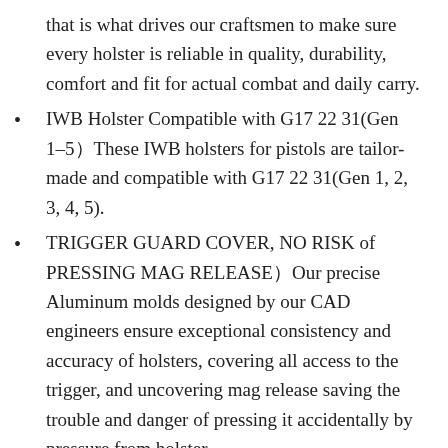that is what drives our craftsmen to make sure every holster is reliable in quality, durability, comfort and fit for actual combat and daily carry.
IWB Holster Compatible with G17 22 31(Gen 1–5）These IWB holsters for pistols are tailor-made and compatible with G17 22 31(Gen 1, 2, 3, 4, 5).
TRIGGER GUARD COVER, NO RISK of PRESSING MAG RELEASE）Our precise Aluminum molds designed by our CAD engineers ensure exceptional consistency and accuracy of holsters, covering all access to the trigger, and uncovering mag release saving the trouble and danger of pressing it accidentally by pressure from holster.
FIT LIKE A GLOVE WITH AN AUDIBLE CLICK） Provide secure retention with tension-